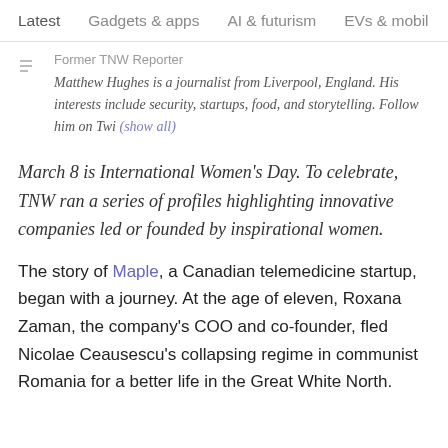Latest   Gadgets & apps   AI & futurism   EVs & mobil  >
Former TNW Reporter
Matthew Hughes is a journalist from Liverpool, England. His interests include security, startups, food, and storytelling. Follow him on Twi (show all)
March 8 is International Women's Day. To celebrate, TNW ran a series of profiles highlighting innovative companies led or founded by inspirational women.
The story of Maple, a Canadian telemedicine startup, began with a journey. At the age of eleven, Roxana Zaman, the company's COO and co-founder, fled Nicolae Ceausescu's collapsing regime in communist Romania for a better life in the Great White North.